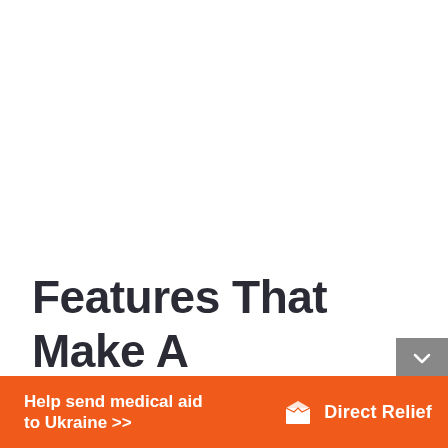Features That Make A Skate Shoe Great
[Figure (infographic): Orange advertisement banner for Direct Relief: 'Help send medical aid to Ukraine >>' with Direct Relief logo on right side.]